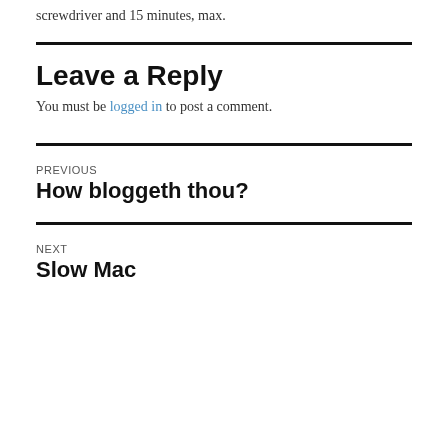screwdriver and 15 minutes, max.
Leave a Reply
You must be logged in to post a comment.
PREVIOUS
How bloggeth thou?
NEXT
Slow Mac